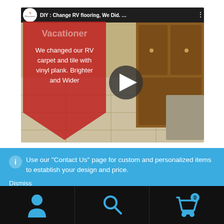[Figure (screenshot): YouTube video thumbnail for 'DIY : Change RV flooring, We Did. ...' by RVacationer channel, showing an RV interior with vinyl plank flooring, cabinets, and a chair. A red polygon overlay reads 'Vacationer – We changed our RV carpet and tile with vinyl plank. Brighter and Wider'. A play button is centered on the thumbnail.]
Use our "Contact Us" page for custom and personalized items to establish your design and price.
Dismiss